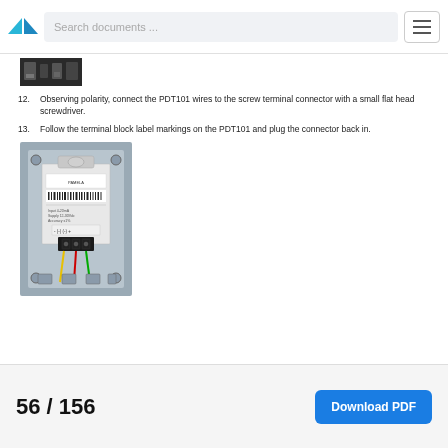Search documents ...
[Figure (photo): Partial view of a device or wiring, cropped at top of content area]
12. Observing polarity, connect the PDT101 wires to the screw terminal connector with a small flat head screwdriver.
13. Follow the terminal block label markings on the PDT101 and plug the connector back in.
[Figure (photo): Photo of the PDT101 device mounted in an enclosure, showing a terminal block with colored wires (red, green, yellow) connected to the bottom of the unit. A label with barcode is visible on the device front.]
56 / 156    Download PDF